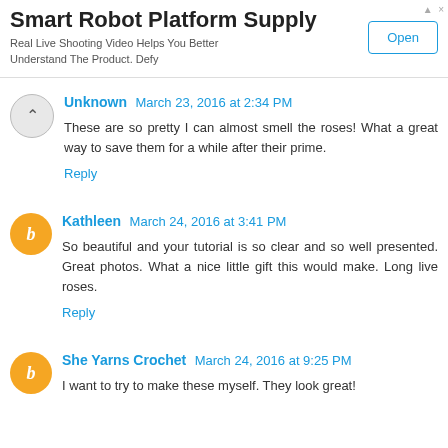[Figure (other): Advertisement banner for Smart Robot Platform Supply with an Open button]
Unknown March 23, 2016 at 2:34 PM
These are so pretty I can almost smell the roses! What a great way to save them for a while after their prime.
Reply
Kathleen March 24, 2016 at 3:41 PM
So beautiful and your tutorial is so clear and so well presented. Great photos. What a nice little gift this would make. Long live roses.
Reply
She Yarns Crochet March 24, 2016 at 9:25 PM
I want to try to make these myself. They look great!